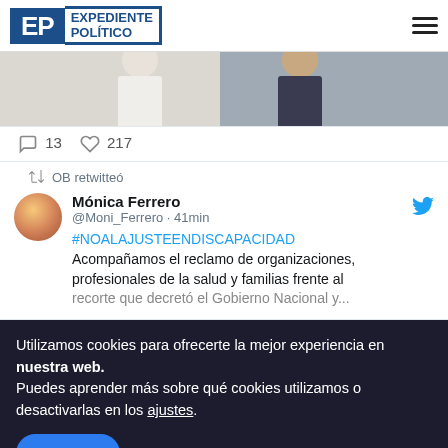EP EXPEDIENTE POLÍTICO
[Figure (photo): Partial photo of two people, one in white clothing and one in dark suit, against a light background]
13  217
OB retwitteó
Mónica Ferrero @Moni_Ferrero · 41min
#NOALAJUSTEENDISCAPACIDAD Acompañamos el reclamo de organizaciones, profesionales de la salud y familias frente al recorte que decretó el Gobierno Nacional...
Utilizamos cookies para ofrecerte la mejor experiencia en nuestra web.
Puedes aprender más sobre qué cookies utilizamos o desactivarlas en los ajustes.
Aceptar